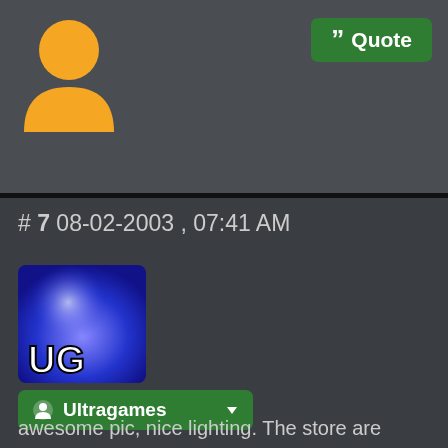[Figure (illustration): Generic user avatar icon in orange/gold color showing a person silhouette]
" Quote
# 7 08-02-2003 , 07:41 AM
[Figure (logo): Ultragames forum logo - blue/dark square with UG text and light flare effect]
Ultragames
Registered User
Join Date: Jan 2003
Posts: 1,113
awesome pic, nice lighting. The store are